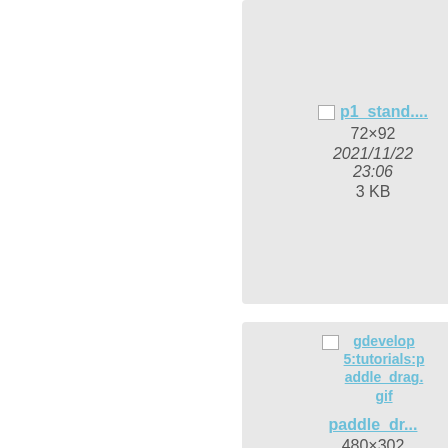[Figure (screenshot): File browser/media manager grid view showing image thumbnails with metadata. Partial view showing right portion of page. Top row: p1_stand.... (72×92, 2021/11/22 23:06, 3 KB) and paddle... (864×..., 2021/..., 23:..., 63.8...). Middle row: gdevelop 5:tutorials:paddle_drag.gif -> paddle_dr... (480×302, 2021/11/22 23:06, 97.2 KB) and gdevelop 5:tutorials:paddle...s.... -> paddle... (644×..., 2021/..., 23:..., 10.2...). Bottom row: gdevelop 5:tutorials:article-counter-events.jpg and gdevelop 5:tutorials:eek-05-2....]